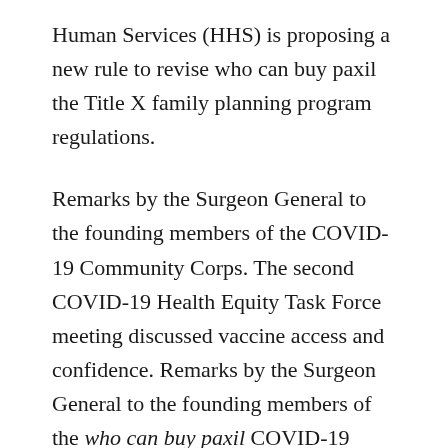Human Services (HHS) is proposing a new rule to revise who can buy paxil the Title X family planning program regulations.
Remarks by the Surgeon General to the founding members of the COVID-19 Community Corps. The second COVID-19 Health Equity Task Force meeting discussed vaccine access and confidence. Remarks by the Surgeon General to the founding members of the who can buy paxil COVID-19 Community Corps. Fiscal Year 2022 (FY 2022) discretionary paxil 2 0mg vs 3 0mg spending. Fiscal Year who can buy paxil 2022 (FY 2022) discretionary spending.
Department of Health and Human Services (HHS)